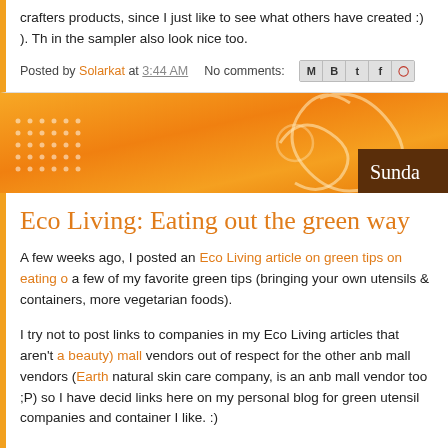crafters products, since I just like to see what others have created :) ). Th in the sampler also look nice too.
Posted by Solarkat at 3:44 AM   No comments:
[Figure (illustration): Orange decorative blog banner with swirl patterns, dot grid on left, and dark brown 'Sunda' label on right]
Eco Living: Eating out the green way
A few weeks ago, I posted an Eco Living article on green tips on eating o a few of my favorite green tips (bringing your own utensils & containers, more vegetarian foods).
I try not to post links to companies in my Eco Living articles that aren't a beauty) mall vendors out of respect for the other anb mall vendors (Earth natural skin care company, is an anb mall vendor too ;P) so I have decid links here on my personal blog for green utensil companies and container I like. :)
The bamboo utensil travel set I mentioned in my eco living article is from bought one of their sets in a natural food store a year and a half or so ag visiting my sister. I love my bamboo utensil set, I just stick in it my purse.